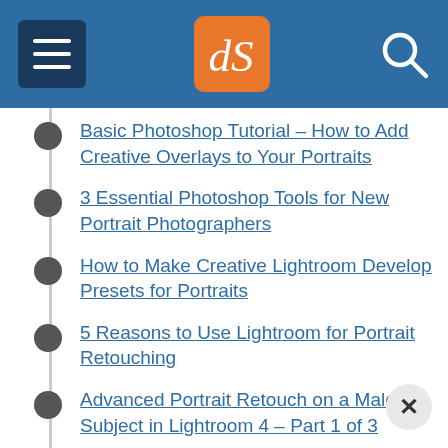dPS navigation header
Basic Photoshop Tutorial – How to Add Creative Overlays to Your Portraits
3 Essential Photoshop Tools for New Portrait Photographers
How to Make Creative Lightroom Develop Presets for Portraits
5 Reasons to Use Lightroom for Portrait Retouching
Advanced Portrait Retouch on a Male Subject in Lightroom 4 – Part 1 of 3
3 Ways to Make Selective Color Portraits